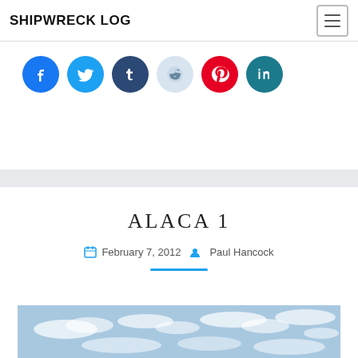SHIPWRECK LOG
[Figure (infographic): Social media share buttons: Facebook, Twitter, Tumblr, Reddit, Pinterest, LinkedIn icon circles]
ALACA 1
February 7, 2012   Paul Hancock
[Figure (photo): Blue sky with scattered white clouds]